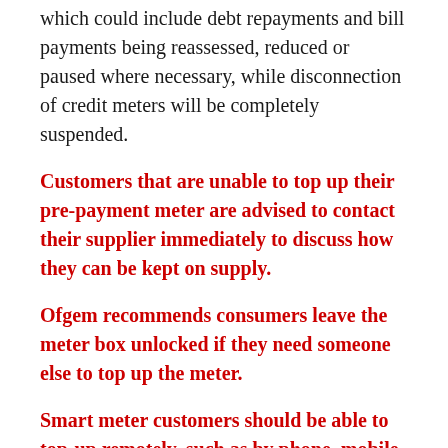which could include debt repayments and bill payments being reassessed, reduced or paused where necessary, while disconnection of credit meters will be completely suspended.
Customers that are unable to top up their pre-payment meter are advised to contact their supplier immediately to discuss how they can be kept on supply.
Ofgem recommends consumers leave the meter box unlocked if they need someone else to top up the meter.
Smart meter customers should be able to top-up remotely, such as by phone, mobile application or online.